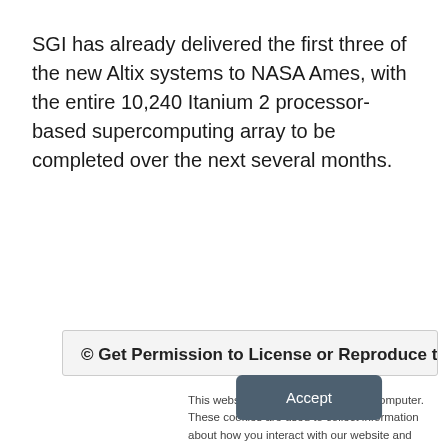SGI has already delivered the first three of the new Altix systems to NASA Ames, with the entire 10,240 Itanium 2 processor-based supercomputing array to be completed over the next several months.
© Get Permission to License or Reproduce this
This website stores cookies on your computer. These cookies are used to collect information about how you interact with our website and allow us to remember you. We use this information in order to improve and customize your browsing experience and for analytics and metrics about our visitors both on this website and other media. To find out more about the cookies we use, see our Privacy Policy. California residents have the right to direct us not to sell their personal information to third parties by filing an Opt-Out Request: Do Not Sell My Personal Info.